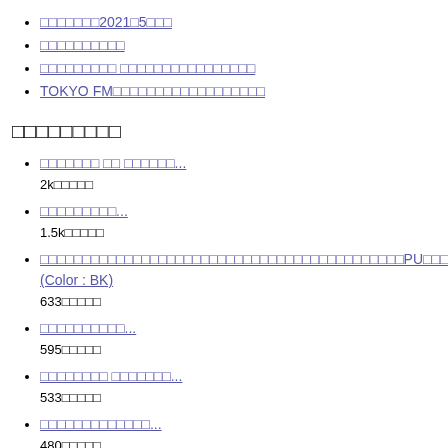□□□□□□□2021□5□□□
□□□□□□□□□□
□□□□□□□□□ □□□□□□□□□□□□□□□□
TOKYO FM□□□□□□□□□□□□□□□□□□
□□□□□□□□□
□□□□□□□ □□ □□□□□□...
2k□□□□□
□□□□□□□□□...
1.5k□□□□□
□□□□□□□□□□□□□□□□□□□□□□□□□□□□□□□□□□□□□□□□□□□PU□□□□□□□□□□□□□□□ (Color : BK)
633□□□□□
□□□□□□□□□□...
595□□□□□
□□□□□□□□ □□□□□□□...
533□□□□□
□□□□□□□□□□□□□...
480□□□□□
□□□□□□□□□□ □□□...
458□□□□□
□□□□□□□□ □□□□□□×□□□